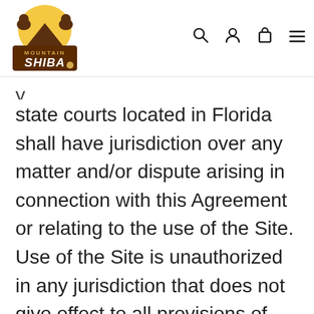[Figure (logo): Mountain Shiba logo with two dogs and a sun/mountain graphic above the text 'MOUNTAIN SHIBA']
state courts located in Florida shall have jurisdiction over any matter and/or dispute arising in connection with this Agreement or relating to the use of the Site. Use of the Site is unauthorized in any jurisdiction that does not give effect to all provisions of these Terms, including, without limitation, this section. The parties agree that venue for any matter